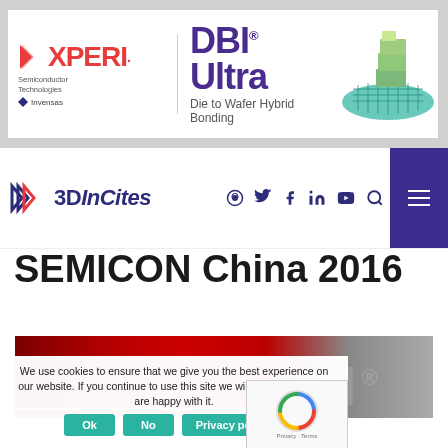[Figure (logo): Xperi Semiconductor Technologies / Invensas logo with DBI Ultra Die to Wafer Hybrid Bonding banner ad, with chip stack illustration on right]
[Figure (logo): 3DInCites website logo with navigation icons (podcast, twitter, facebook, linkedin, youtube, search) and hamburger menu button]
SEMICON China 2016
[Figure (photo): SEMICON China event banner image with red background and SEMICON text]
We use cookies to ensure that we give you the best experience on our website. If you continue to use this site we will assume that you are happy with it.
[Figure (other): Cookie consent buttons: Ok, No, Privacy policy, and reCAPTCHA widget]